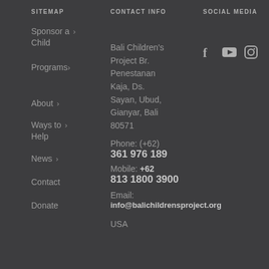SITEMAP
CONTACT INFO
SOCIAL MEDIA
Sponsor a Child ›
Programs ›
About ›
Ways to Help ›
News ›
Contact
Donate
Bali Children's Project Br. Penestanan Kaja, Ds. Sayan, Ubud, Gianyar, Bali 80571
Phone: (+62) 361 976 189
Mobile: +62 813 1800 3900
Email: info@balichildrensproject.org
USA
[Figure (other): Social media icons: Facebook, YouTube, Instagram]